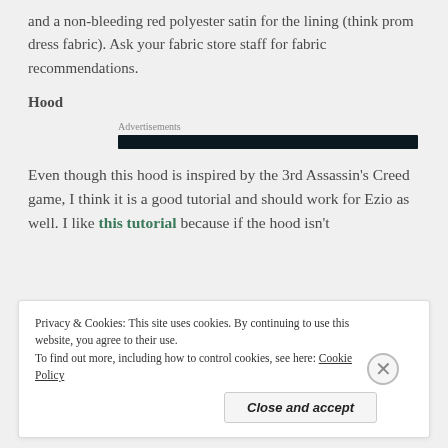and a non-bleeding red polyester satin for the lining (think prom dress fabric). Ask your fabric store staff for fabric recommendations.
Hood
[Figure (other): Advertisement banner — dark navy/black horizontal bar labeled 'Advertisements']
Even though this hood is inspired by the 3rd Assassin's Creed game, I think it is a good tutorial and should work for Ezio as well. I like this tutorial because if the hood isn't
Privacy & Cookies: This site uses cookies. By continuing to use this website, you agree to their use.
To find out more, including how to control cookies, see here: Cookie Policy
Close and accept